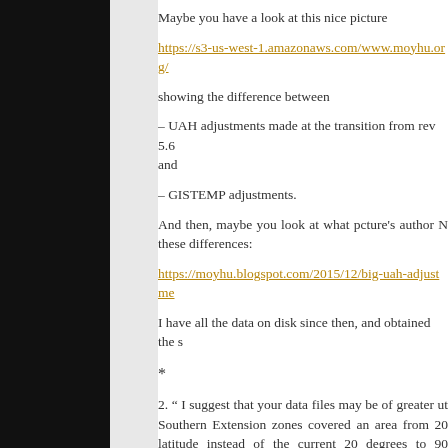Maybe you have a look at this nice picture
https://s3-us-west-1.amazonaws.com/www.moyhu.org/
showing the difference between
– UAH adjustments made at the transition from rev 5.6 and
– GISTEMP adjustments.
And then, maybe you look at what pcture's author N these differences:
https://moyhu.blogspot.com/2015/12/big-uah-adjustme
I have all the data on disk since then, and obtained the s
*
2. " I suggest that your data files may be of greater ut Southern Extension zones covered an area from 20 latitude instead of the current 20 degrees to 90 degrees.
But I, Bindidon, in fact would prefer the Tropics going